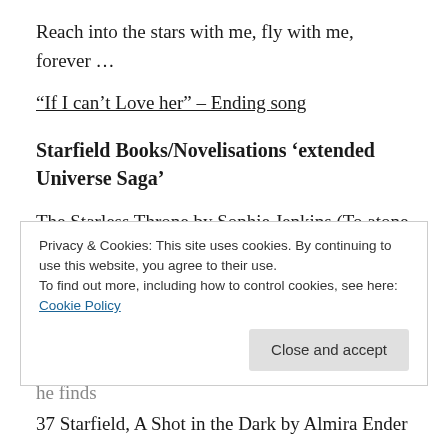Reach into the stars with me, fly with me, forever …
“If I can’t Love her” – Ending song
Starfield Books/Novelisations ‘extended Universe Saga’
The Starless Throne by Sophie Jenkins (To atone for the crimsoned of the Twelfth Order, Ambrose Sond escapes his lifelong imprisonment in the Mines of Mourning and is sent careening into plot that may destroy not only the Federation but everything he once loathed – until he finds
Privacy & Cookies: This site uses cookies. By continuing to use this website, you agree to their use.
To find out more, including how to control cookies, see here: Cookie Policy
Close and accept
37 Starfield, A Shot in the Dark by Almira Ender